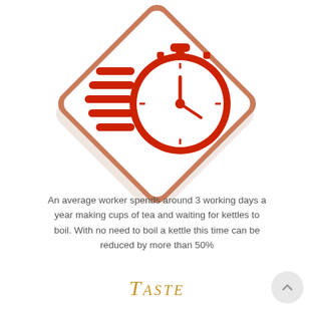[Figure (illustration): A diamond/rhombus-shaped icon with a salmon/terracotta border and white fill, containing a red stopwatch/timer with speed lines (horizontal bars) to the left, suggesting fast speed.]
An average worker spends around 3 working days a year making cups of tea and waiting for kettles to boil. With no need to boil a kettle this time can be reduced by more than 50%
Taste